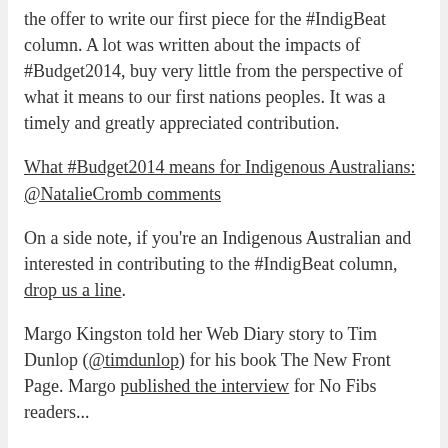the offer to write our first piece for the #IndigBeat column. A lot was written about the impacts of #Budget2014, buy very little from the perspective of what it means to our first nations peoples. It was a timely and greatly appreciated contribution.
What #Budget2014 means for Indigenous Australians: @NatalieCromb comments
On a side note, if you're an Indigenous Australian and interested in contributing to the #IndigBeat column, drop us a line.
Margo Kingston told her Web Diary story to Tim Dunlop (@timdunlop) for his book The New Front Page. Margo published the interview for No Fibs readers...